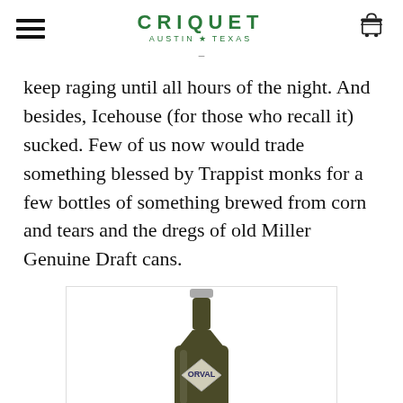CRIQUET AUSTIN★TEXAS
keep raging until all hours of the night. And besides, Icehouse (for those who recall it) sucked. Few of us now would trade something blessed by Trappist monks for a few bottles of something brewed from corn and tears and the dregs of old Miller Genuine Draft cans.
[Figure (photo): A dark glass beer bottle (Orval Trappist ale) shown from the neck down with a silver cap and diamond-shaped label reading ORVAL, on a white background within a bordered rectangle.]
SHARE THIS: